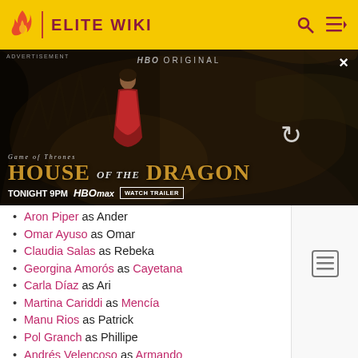ELITE WIKI
[Figure (screenshot): HBO Original advertisement banner for House of the Dragon. Shows a woman in red dress in a dark cave with dragon imagery. Text: GAME OF THRONES HOUSE OF THE DRAGON TONIGHT 9PM HBO max WATCH TRAILER. Has ADVERTISEMENT label and close X button.]
Aron Piper as Ander
Omar Ayuso as Omar
Claudia Salas as Rebeka
Georgina Amorós as Cayetana
Carla Díaz as Ari
Martina Cariddi as Mencía
Manu Rios as Patrick
Pol Granch as Phillipe
Andrés Velencoso as Armando